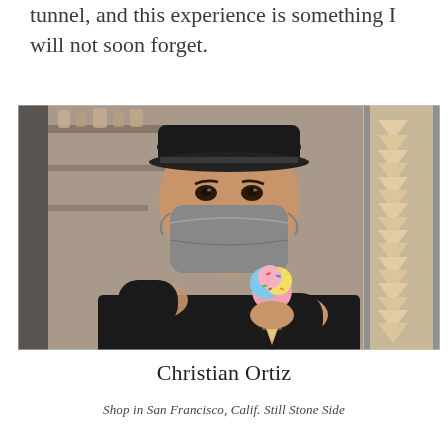tunnel, and this experience is something I will not soon forget.
[Figure (photo): A young man wearing a black cap and gray face mask, dressed in a black t-shirt, holding out a colorful ice cream cone toward the camera. He is standing in what appears to be an ice cream shop or food truck, with shelves visible in the background and a cone dispenser on the right side.]
Christian Ortiz
Shop in San Francisco, Calif. Still Stone Side